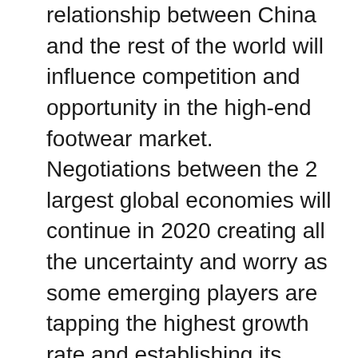relationship between China and the rest of the world will influence competition and opportunity in the high-end footwear market. Negotiations between the 2 largest global economies will continue in 2020 creating all the uncertainty and worry as some emerging players are tapping the highest growth rate and establishing its market share while the reliable giants of the global high-end shoes are always tuned in to their strategic moves to defy all competition.
How Key Players of the Global High-end Footwear Market are Identified and what all